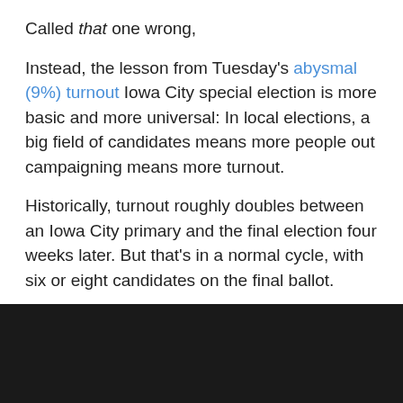Called that one wrong,
Instead, the lesson from Tuesday's abysmal (9%) turnout Iowa City special election is more basic and more universal: In local elections, a big field of candidates means more people out campaigning means more turnout.
Historically, turnout roughly doubles between an Iowa City primary and the final election four weeks later. But that's in a normal cycle, with six or eight candidates on the final ballot.
Tuesday, with two people on the ballot instead of the five from the primary, turnout was up just 229 people, from 3966 to the 4195 we had Tueday. Nearly all of that increase came in the absentees, which bumped from 490 in September to 666 Tuesday.
[Figure (other): Dark black rectangle at the bottom of the page, partially visible image]